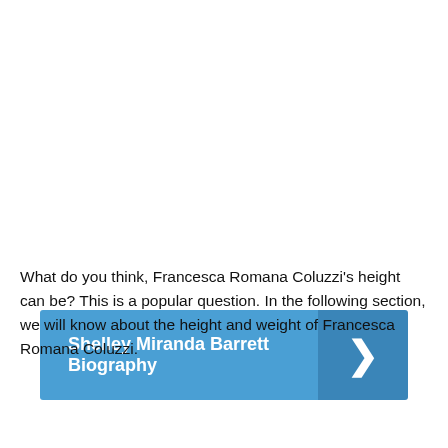Shelley Miranda Barrett Biography
What do you think, Francesca Romana Coluzzi's height can be? This is a popular question. In the following section, we will know about the height and weight of Francesca Romana Coluzzi.
[Figure (photo): Advertisement banner showing an airplane being loaded with cargo, with text 'WITHOUT REGARD TO POLITICS, RELIGION, OR ABILITY TO PAY' on dark blue background]